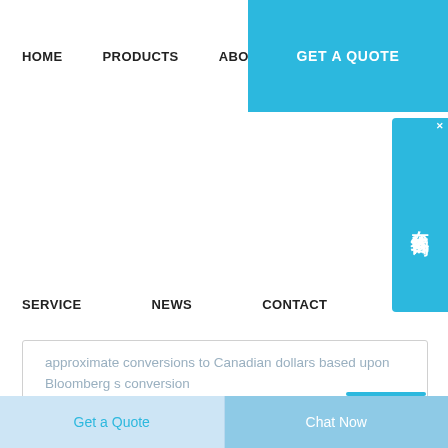HOME   PRODUCTS   ABOUT   GET A QUOTE
SERVICE   NEWS   CONTACT
approximate conversions to Canadian dollars based upon Bloomberg s conversion
Get a Quote   Chat Now